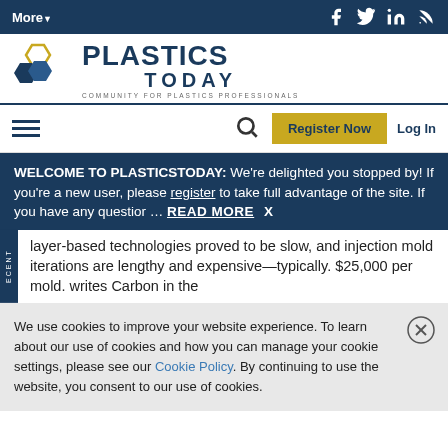More▼
[Figure (logo): Plastics Today logo with hexagon icons and tagline COMMUNITY FOR PLASTICS PROFESSIONALS]
Register Now  Log In
WELCOME TO PLASTICSTODAY: We're delighted you stopped by! If you're a new user, please register to take full advantage of the site. If you have any questior … READ MORE  X
layer-based technologies proved to be slow, and injection mold iterations are lengthy and expensive—typically. $25,000 per mold. writes Carbon in the
We use cookies to improve your website experience. To learn about our use of cookies and how you can manage your cookie settings, please see our Cookie Policy. By continuing to use the website, you consent to our use of cookies.